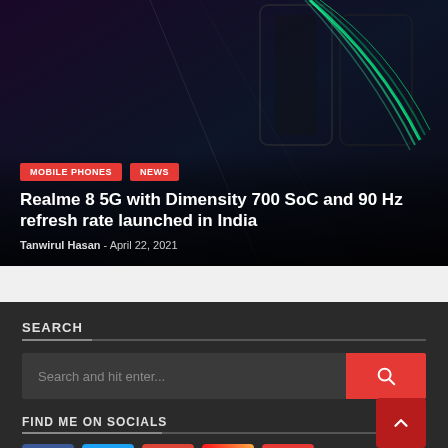[Figure (photo): Hero article image showing smartphone with colorful light streaks on dark background, with red category badges and article title overlay]
Realme 8 5G with Dimensity 700 SoC and 90 Hz refresh rate launched in India
Tanwirul Hasan  -  April 22, 2021
SEARCH
Search and hit enter...
FIND ME ON SOCIALS